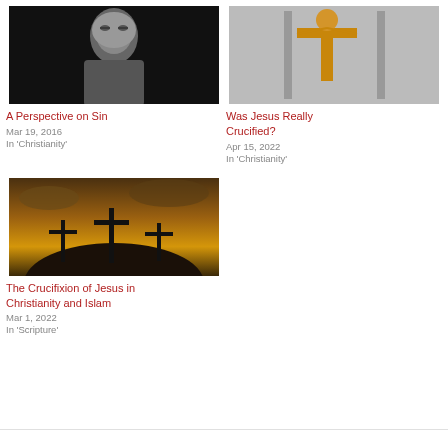[Figure (photo): Black and white portrait photo of a man with round glasses]
A Perspective on Sin
Mar 19, 2016
In 'Christianity'
[Figure (photo): Golden crucifix sculpture of Jesus on a cross]
Was Jesus Really Crucified?
Apr 15, 2022
In 'Christianity'
[Figure (photo): Three crosses silhouetted against a dramatic sunset sky]
The Crucifixion of Jesus in Christianity and Islam
Mar 1, 2022
In 'Scripture'